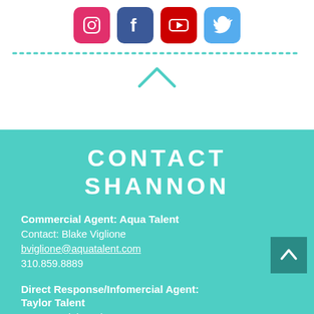[Figure (illustration): Social media icons: Instagram (pink), Facebook (dark blue), YouTube (red), Twitter (light blue)]
CONTACT SHANNON
Commercial Agent: Aqua Talent
Contact: Blake Viglione
bviglione@aquatalent.com
310.859.8889
Direct Response/Infomercial Agent: Taylor Talent
Contact: Blair Taylor
blair@taylortalentservices.com
310.592.1068
Hosting/Alternative Programming: TKO Media
Contact: Tim Kessler